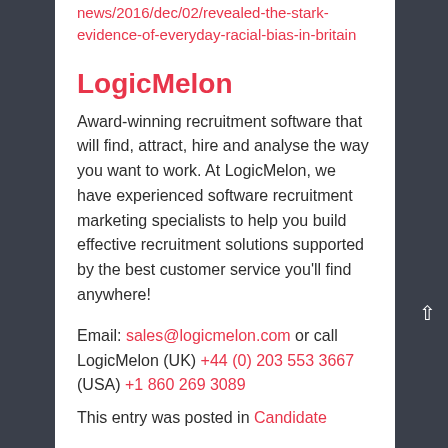news/2016/dec/02/revealed-the-stark-evidence-of-everyday-racial-bias-in-britain
LogicMelon
Award-winning recruitment software that will find, attract, hire and analyse the way you want to work. At LogicMelon, we have experienced software recruitment marketing specialists to help you build effective recruitment solutions supported by the best customer service you'll find anywhere!
Email: sales@logicmelon.com or call LogicMelon (UK) +44 (0) 203 553 3667 (USA) +1 860 269 3089
This entry was posted in Candidate